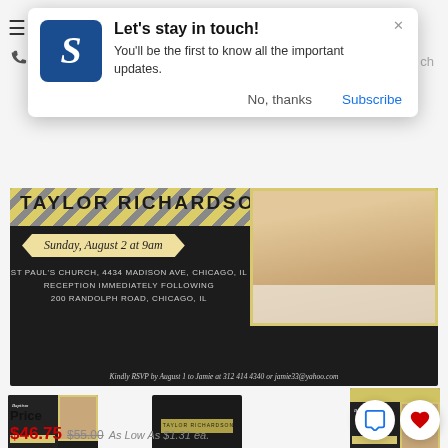[Figure (screenshot): Notification popup with logo for a service called 'S', title 'Let’s stay in touch!', body text 'You’ll be the first to know all the important updates.', with 'No, thanks' and 'Subscribe' buttons]
[Figure (photo): Baptism invitation card for Taylor Richardson, Sunday August 2 at 9am, St Paul's Church 4434 Madison Ave Chicago IL, Reception Immediately Following 200 Randolph Road Chicago IL, RSVP by August 1 to Jamie at 312 414 4340 or jamie33@yahoo.com. Dark background with yellow stripe and baby photo.]
[Figure (photo): Thumbnail of Baptism invitation front]
Baptism
[Figure (photo): Thumbnail of invitation back - dark background with yellow stripe and name]
Back
[Figure (photo): Thumbnail of Baptism invitation alternate view]
Baptism
Price
$46.75  $55.00  As Low As $1.31 ea.